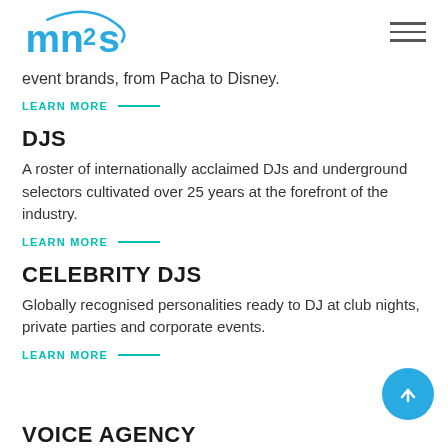[Figure (logo): MN2S logo in blue with circular swoosh]
event brands, from Pacha to Disney.
LEARN MORE
DJS
A roster of internationally acclaimed DJs and underground selectors cultivated over 25 years at the forefront of the industry.
LEARN MORE
CELEBRITY DJS
Globally recognised personalities ready to DJ at club nights, private parties and corporate events.
LEARN MORE
VOICE AGENCY